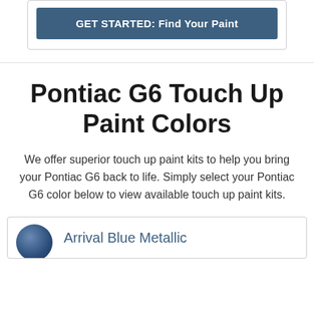[Figure (other): Blue 'GET STARTED: Find Your Paint' call-to-action button inside a bordered container]
Pontiac G6 Touch Up Paint Colors
We offer superior touch up paint kits to help you bring your Pontiac G6 back to life. Simply select your Pontiac G6 color below to view available touch up paint kits.
Arrival Blue Metallic